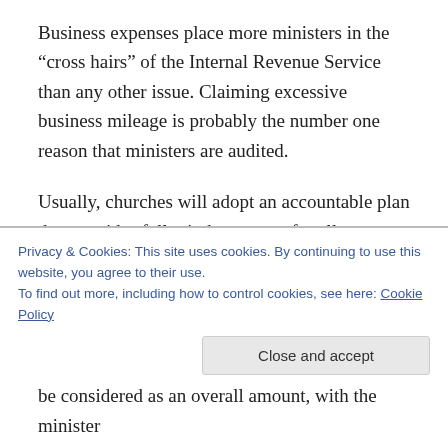Business expenses place more ministers in the “cross hairs” of the Internal Revenue Service than any other issue. Claiming excessive business mileage is probably the number one reason that ministers are audited.
Usually, churches will adopt an accountable plan that provides full reimbursement for all professional business expenses or provides reimbursement up to a specified annual limit. Even if a limit is placed on the accountable reimbursement account, it should be viewed as an annual limit, not a monthly amount, because the different...
be considered as an overall amount, with the minister
[Figure (screenshot): Cookie consent banner with text: 'Privacy & Cookies: This site uses cookies. By continuing to use this website, you agree to their use. To find out more, including how to control cookies, see here: Cookie Policy' and a 'Close and accept' button.]